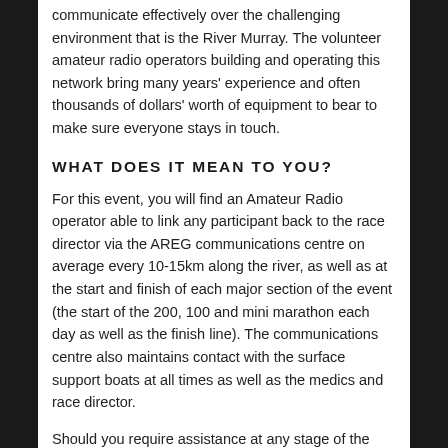communicate effectively over the challenging environment that is the River Murray. The volunteer amateur radio operators building and operating this network bring many years' experience and often thousands of dollars' worth of equipment to bear to make sure everyone stays in touch.
WHAT DOES IT MEAN TO YOU?
For this event, you will find an Amateur Radio operator able to link any participant back to the race director via the AREG communications centre on average every 10-15km along the river, as well as at the start and finish of each major section of the event (the start of the 200, 100 and mini marathon each day as well as the finish line). The communications centre also maintains contact with the surface support boats at all times as well as the medics and race director.
Should you require assistance at any stage of the event, you can rest assured that if you pull up to one of the radio checkpoints or stop and make contact with one of the support craft, that there is a radio network behind them that will get your message through, not only to the race